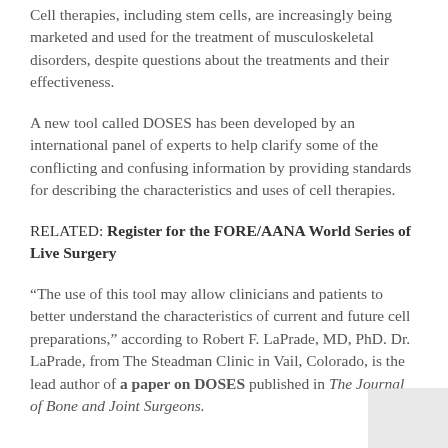Cell therapies, including stem cells, are increasingly being marketed and used for the treatment of musculoskeletal disorders, despite questions about the treatments and their effectiveness.
A new tool called DOSES has been developed by an international panel of experts to help clarify some of the conflicting and confusing information by providing standards for describing the characteristics and uses of cell therapies.
RELATED: Register for the FORE/AANA World Series of Live Surgery
“The use of this tool may allow clinicians and patients to better understand the characteristics of current and future cell preparations,” according to Robert F. LaPrade, MD, PhD. Dr. LaPrade, from The Steadman Clinic in Vail, Colorado, is the lead author of a paper on DOSES published in The Journal of Bone and Joint Surgeons.